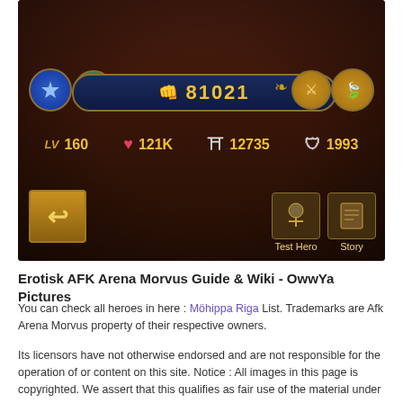[Figure (screenshot): AFK Arena mobile game screenshot showing a character profile screen. Contains a score bar displaying 81021, stat icons showing LV 160, heart 121K, 12735, shield 1993, circular hero/skill icons, wheat decoration, back arrow button, Test Hero and Story buttons.]
Erotisk AFK Arena Morvus Guide & Wiki - OwwYa Pictures
You can check all heroes in here : Möhippa Riga List. Trademarks are Afk Arena Morvus property of their respective owners.
Its licensors have not otherwise endorsed and are not responsible for the operation of or content on this site. Notice : All images in this page is copyrighted. We assert that this qualifies as fair use of the material under